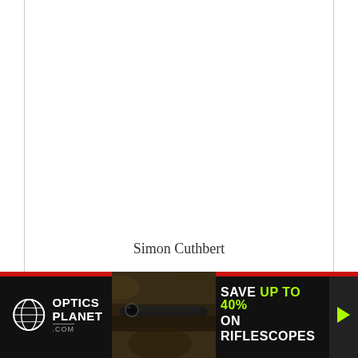Simon Cuthbert
[Figure (illustration): OpticsPlanet.com advertisement banner with globe logo, rifle scope image, and text 'SAVE UP TO 40% ON RIFLESCOPES' with green accent colors on dark background]